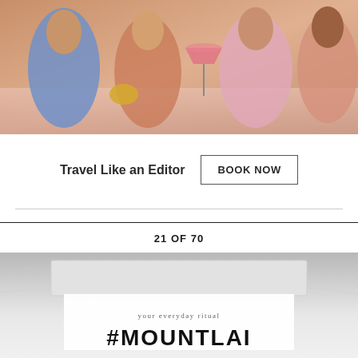[Figure (photo): Three women in elegant dresses sitting at a table with cocktails and accessories, glamorous setting with pink and blue tones]
Travel Like an Editor
BOOK NOW
21 OF 70
[Figure (photo): Product packaging on marble surface showing 'your everyday ritual' and '#MOUNTLAI' branding text]